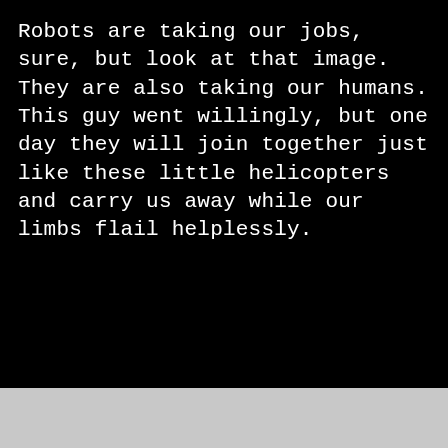Robots are taking our jobs, sure, but look at that image. They are also taking our humans. This guy went willingly, but one day they will join together just like these little helicopters and carry us away while our limbs flail helplessly.